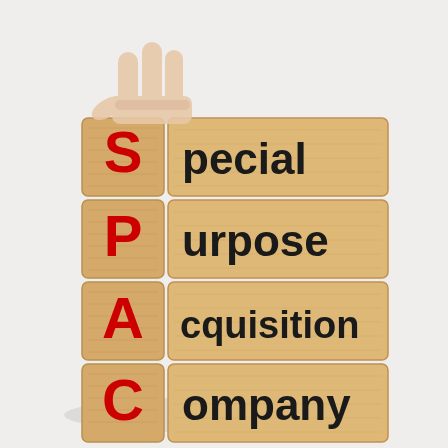[Figure (photo): A photograph of wooden blocks stacked vertically spelling out SPAC. Each block has a red letter on a small square wooden cube on the left (S, P, A, C from top to bottom), followed by a wider wooden plank block on the right showing the remaining letters of each word in bold black text: 'pecial', 'urpose', 'cquisition', 'ompany'. The full acronym spells Special Purpose Acquisition Company. A human hand is shown placing the top 'S' block. The background is white/light gray.]